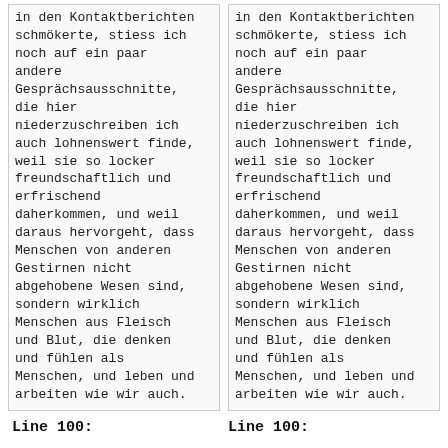in den Kontaktberichten schmökerte, stiess ich noch auf ein paar andere Gesprächsausschnitte, die hier niederzuschreiben ich auch lohnenswert finde, weil sie so locker freundschaftlich und erfrischend daherkommen, und weil daraus hervorgeht, dass Menschen von anderen Gestirnen nicht abgehobene Wesen sind, sondern wirklich Menschen aus Fleisch und Blut, die denken und fühlen als Menschen, und leben und arbeiten wie wir auch.
in den Kontaktberichten schmökerte, stiess ich noch auf ein paar andere Gesprächsausschnitte, die hier niederzuschreiben ich auch lohnenswert finde, weil sie so locker freundschaftlich und erfrischend daherkommen, und weil daraus hervorgeht, dass Menschen von anderen Gestirnen nicht abgehobene Wesen sind, sondern wirklich Menschen aus Fleisch und Blut, die denken und fühlen als Menschen, und leben und arbeiten wie wir auch.
Line 100:
Line 100: